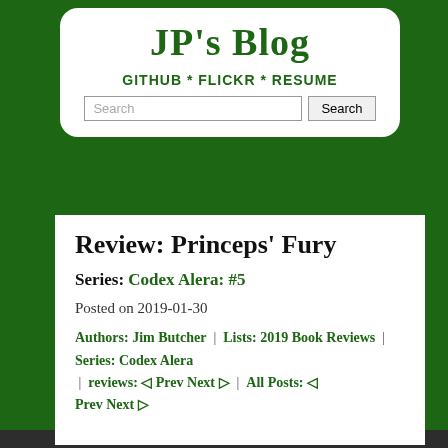JP's Blog
GITHUB * FLICKR * RESUME
Review: Princeps' Fury
Series: Codex Alera: #5
Posted on 2019-01-30
Authors: Jim Butcher | Lists: 2019 Book Reviews | Series: Codex Alera | reviews: ◁ Prev Next ▷ | All Posts: ◁ Prev Next ▷